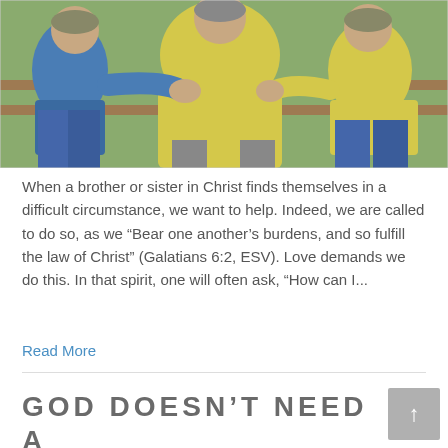[Figure (photo): Three people sitting on a bench outdoors. Two people wearing yellow shirts and one in a blue shirt and jeans. The person in the middle has their back to the camera and the others appear to be offering comfort or prayer.]
When a brother or sister in Christ finds themselves in a difficult circumstance, we want to help. Indeed, we are called to do so, as we “Bear one another’s burdens, and so fulfill the law of Christ” (Galatians 6:2, ESV). Love demands we do this. In that spirit, one will often ask, “How can I...
Read More
GOD DOESN’T NEED A